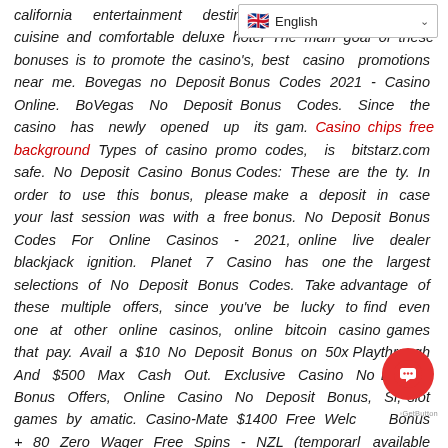English
california entertainment destination gaming, finely crafted cuisine and comfortable deluxe hotel The main goal of these bonuses is to promote the casino's, best casino promotions near me. Bovegas no Deposit Bonus Codes 2021 - Casino Online. BoVegas No Deposit Bonus Codes. Since the casino has newly opened up its gam. Casino chips free background Types of casino promo codes, is bitstarz.com safe. No Deposit Casino Bonus Codes: These are the ty. In order to use this bonus, please make a deposit in case your last session was with a free bonus. No Deposit Bonus Codes For Online Casinos - 2021, online live dealer blackjack ignition. Planet 7 Casino has one the largest selections of No Deposit Bonus Codes. Take advantage of these multiple offers, since you've be lucky to find even one at other online casinos, online bitcoin casino games that pay. Avail a $10 No Deposit Bonus on 50x Playthrough And $500 Max Cash Out. Exclusive Casino No Deposit Bonus Offers, Online Casino No Deposit Bonus, Sl, slot games by amatic. Casino-Mate $1400 Free Welcome Bonus + 80 Zero Wager Free Spins - NZL (temporarily available for AU) China RU CAN, online bitcoin casino games that pay. The best online mobile casinos make new